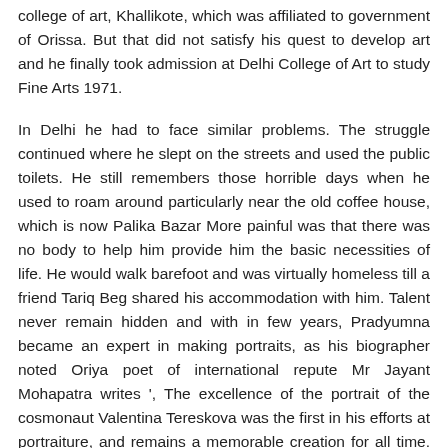college of art, Khallikote, which was affiliated to government of Orissa. But that did not satisfy his quest to develop art and he finally took admission at Delhi College of Art to study Fine Arts 1971.
In Delhi he had to face similar problems. The struggle continued where he slept on the streets and used the public toilets. He still remembers those horrible days when he used to roam around particularly near the old coffee house, which is now Palika Bazar More painful was that there was no body to help him provide him the basic necessities of life. He would walk barefoot and was virtually homeless till a friend Tariq Beg shared his accommodation with him. Talent never remain hidden and with in few years, Pradyumna became an expert in making portraits, as his biographer noted Oriya poet of international repute Mr Jayant Mohapatra writes ', The excellence of the portrait of the cosmonaut Valentina Tereskova was the first in his efforts at portraiture, and remains a memorable creation for all time. His art became topic of discussion everywhere, and his name found prominent place in the country's newspaper. Pradyumna could then easily obtain permission from the Delhi High